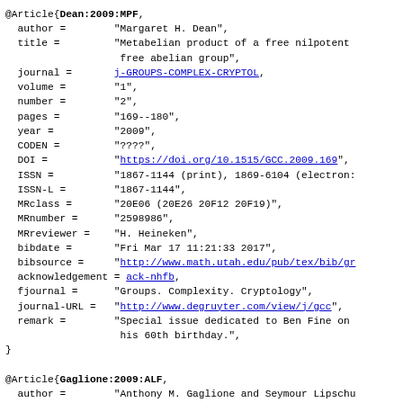@Article{Dean:2009:MPF, author = "Margaret H. Dean", title = "Metabelian product of a free nilpotent free abelian group", journal = j-GROUPS-COMPLEX-CRYPTOL, volume = "1", number = "2", pages = "169--180", year = "2009", CODEN = "????", DOI = "https://doi.org/10.1515/GCC.2009.169", ISSN = "1867-1144 (print), 1869-6104 (electron:", ISSN-L = "1867-1144", MRclass = "20E06 (20E26 20F12 20F19)", MRnumber = "2598986", MRreviewer = "H. Heineken", bibdate = "Fri Mar 17 11:21:33 2017", bibsource = "http://www.math.utah.edu/pub/tex/bib/gr", acknowledgement = ack-nhfb, fjournal = "Groups. Complexity. Cryptology", journal-URL = "http://www.degruyter.com/view/j/gcc", remark = "Special issue dedicated to Ben Fine on his 60th birthday.", }
@Article{Gaglione:2009:ALF, author = "Anthony M. Gaglione and Seymour Lipschu Spellman", title = "Almost locally free groups and a theore some questions",